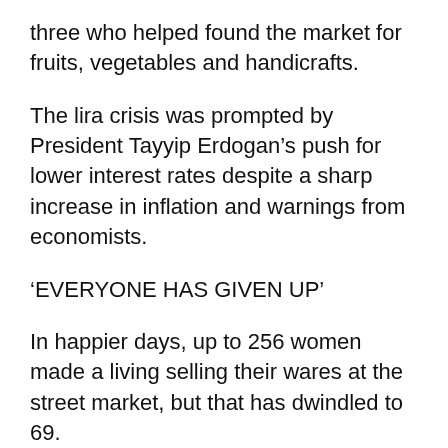three who helped found the market for fruits, vegetables and handicrafts.
The lira crisis was prompted by President Tayyip Erdogan’s push for lower interest rates despite a sharp increase in inflation and warnings from economists.
‘EVERYONE HAS GIVEN UP’
In happier days, up to 256 women made a living selling their wares at the street market, but that has dwindled to 69.
“People’s purchasing power is almost